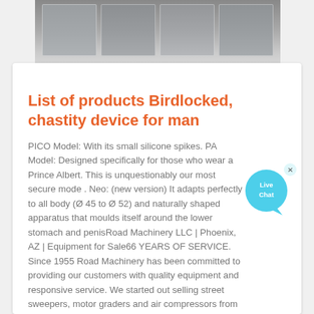[Figure (photo): Top portion showing industrial/mechanical equipment panels with gray tones, fading into white background]
List of products Birdlocked, chastity device for man
PICO Model: With its small silicone spikes. PA Model: Designed specifically for those who wear a Prince Albert. This is unquestionably our most secure mode . Neo: (new version) It adapts perfectly to all body (Ø 45 to Ø 52) and naturally shaped apparatus that moulds itself around the lower stomach and penisRoad Machinery LLC | Phoenix, AZ | Equipment for Sale66 YEARS OF SERVICE. Since 1955 Road Machinery has been committed to providing our customers with quality equipment and responsive service. We started out selling street sweepers, motor graders and air compressors from our 7th street, Phoenix, Arizona location. Road Machinery now operates 14 locations across Arizona and California including ...
[Figure (illustration): Live Chat speech bubble icon in cyan/light blue with white text saying 'Live Chat' and a small x close button]